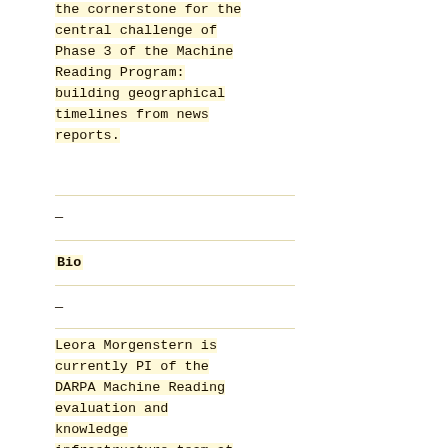the cornerstone for the central challenge of Phase 3 of the Machine Reading Program: building geographical timelines from news reports.
Bio
Leora Morgenstern is currently PI of the DARPA Machine Reading evaluation and knowledge infrastructure team at SAIC. Previous to joining SAIC, she spent most of her career at